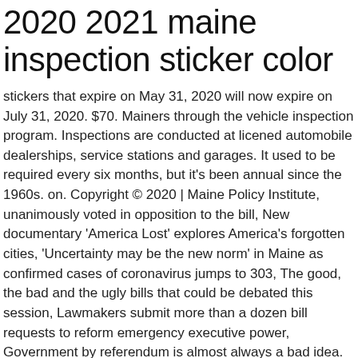2020 2021 maine inspection sticker color
stickers that expire on May 31, 2020 will now expire on July 31, 2020. $70. Mainers through the vehicle inspection program. Inspections are conducted at licened automobile dealerships, service stations and garages. It used to be required every six months, but it's been annual since the 1960s. on. Copyright © 2020 | Maine Policy Institute, unanimously voted in opposition to the bill, New documentary 'America Lost' explores America's forgotten cities, 'Uncertainty may be the new norm' in Maine as confirmed cases of coronavirus jumps to 303, The good, the bad and the ugly bills that could be debated this session, Lawmakers submit more than a dozen bill requests to reform emergency executive power, Government by referendum is almost always a bad idea. Mailing address - State House Station #20 The Motor Vehicle Inspection Unit has partnered with InforME to offer Online Sales of inspection stickers and materials using credit/debit cards. The durable material is cut to a specific shape and lasts up to five years. That sticker could very well have been a fake sticker from a shop that posed as an authorized inspection shop, but lost their licensing